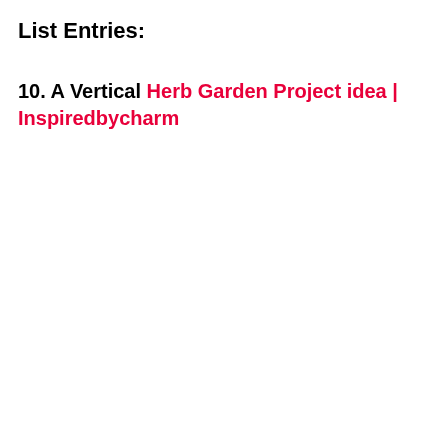List Entries:
10. A Vertical Herb Garden Project idea | Inspiredbycharm